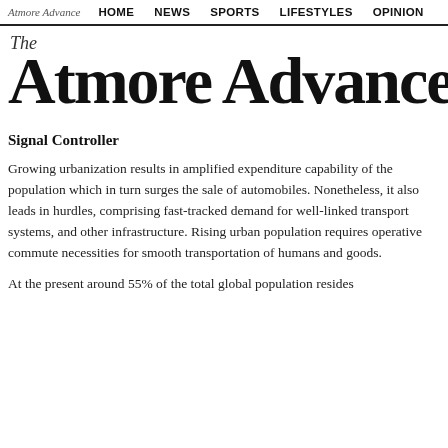Atmore Advance  HOME  NEWS  SPORTS  LIFESTYLES  OPINION
The Atmore Advance
Signal Controller
Growing urbanization results in amplified expenditure capability of the population which in turn surges the sale of automobiles. Nonetheless, it also leads in hurdles, comprising fast-tracked demand for well-linked transport systems, and other infrastructure. Rising urban population requires operative commute necessities for smooth transportation of humans and goods.
At the present around 55% of the total global population resides